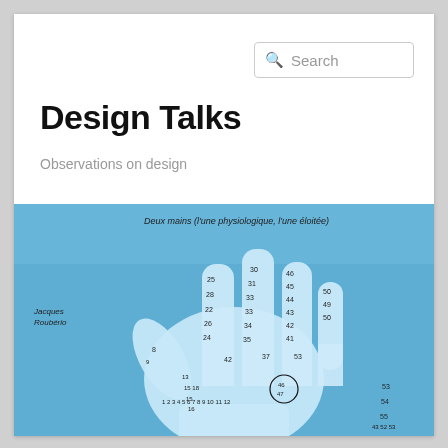Search
Design Talks
Observations on design
[Figure (photo): Book cover showing a blue-tinted hand with numbers written on it. Text at top reads 'Deux mains (l'une physiologique, l'une éloitée)'. Author name 'Jacques Roubério' on the left side. Numbers are written across the palm and fingers. One number is circled on the palm.]